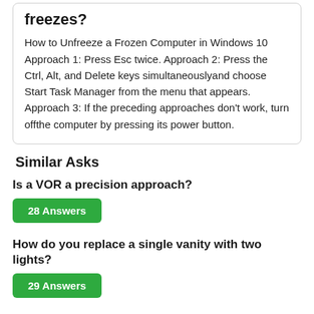freezes?
How to Unfreeze a Frozen Computer in Windows 10 Approach 1: Press Esc twice. Approach 2: Press the Ctrl, Alt, and Delete keys simultaneouslyand choose Start Task Manager from the menu that appears. Approach 3: If the preceding approaches don't work, turn offthe computer by pressing its power button.
Similar Asks
Is a VOR a precision approach?
28 Answers
How do you replace a single vanity with two lights?
29 Answers